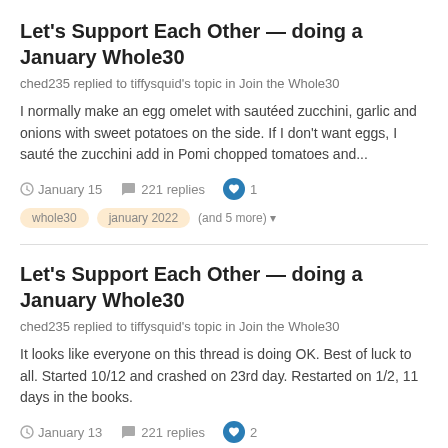Let's Support Each Other — doing a January Whole30
ched235 replied to tiffysquid's topic in Join the Whole30
I normally make an egg omelet with sautéed zucchini, garlic and onions with sweet potatoes on the side. If I don't want eggs, I sauté the zucchini add in Pomi chopped tomatoes and...
January 15   221 replies   1   whole30   january 2022   (and 5 more)
Let's Support Each Other — doing a January Whole30
ched235 replied to tiffysquid's topic in Join the Whole30
It looks like everyone on this thread is doing OK. Best of luck to all. Started 10/12 and crashed on 23rd day. Restarted on 1/2, 11 days in the books.
January 13   221 replies   2